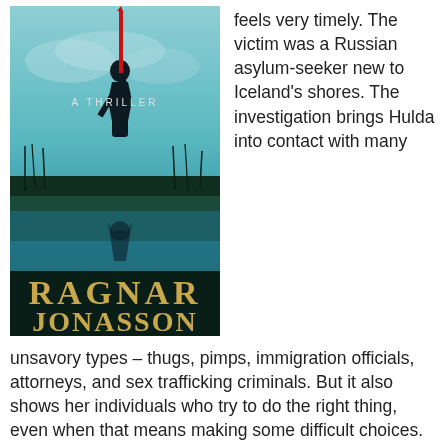[Figure (illustration): Book cover for a thriller by Ragnar Jonasson. Teal/blue sky background with silhouette of a standing figure holding a red object above their head. Large golden/tan lettering reads RAGNAR JONASSON with A THRILLER subtitle. Shadow reflection below.]
feels very timely. The victim was a Russian asylum-seeker new to Iceland's shores. The investigation brings Hulda into contact with many unsavory types – thugs, pimps, immigration officials, attorneys, and sex trafficking criminals. But it also shows her individuals who try to do the right thing, even when that means making some difficult choices. For Hulda, who has a strained outlook on humanity in general, this proves to give a glimmer of